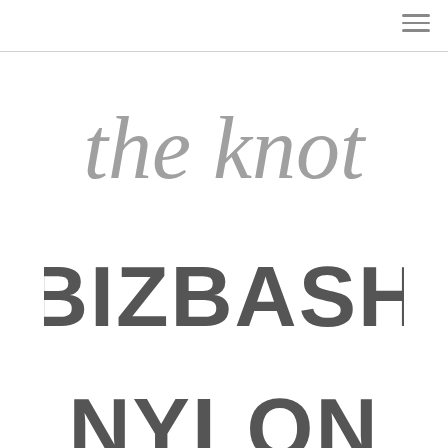navigation menu
[Figure (logo): The Knot logo in cursive script, gray color]
[Figure (logo): BizBash logo in bold sans-serif uppercase, dark gray color]
[Figure (logo): Nylon logo in bold sans-serif uppercase, dark gray color, partially visible]